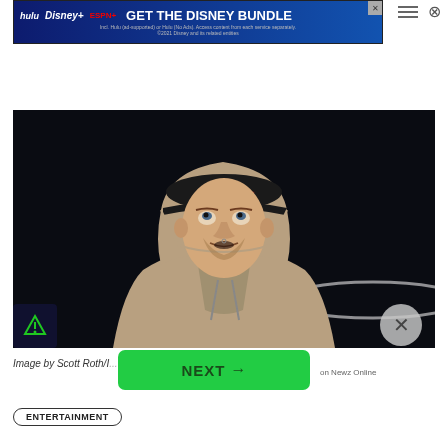[Figure (other): Disney Bundle advertisement banner with Hulu, Disney+, ESPN+ logos and 'GET THE DISNEY BUNDLE' call to action. Fine print: Incl. Hulu (ad-supported) or Hulu (No Ads). Access content from each service separately. ©2021 Disney and its related entities.]
[Figure (photo): Photo of a young man wearing a tan/beige hoodie and dark baseball cap against a dark background, looking upward. Image by Scott Roth/[...]]
Image by Scott Roth/I[...]
[Figure (other): NEXT → button in green, linking to Newz Online]
on Newz Online
ENTERTAINMENT